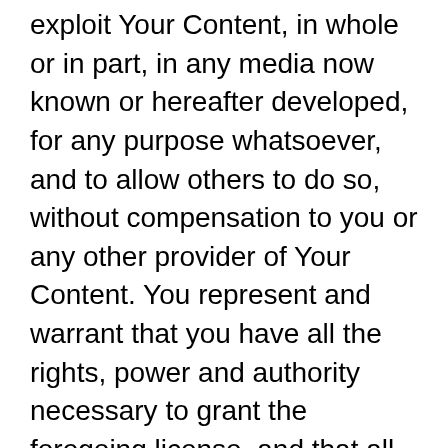exploit Your Content, in whole or in part, in any media now known or hereafter developed, for any purpose whatsoever, and to allow others to do so, without compensation to you or any other provider of Your Content. You represent and warrant that you have all the rights, power and authority necessary to grant the foregoing license, and that all Your Content does not infringe, violate, misappropriate or otherwise conflict with the rights of any third party, and complies with all applicable laws and regulations. In addition, events must be accurately and truthfully described when